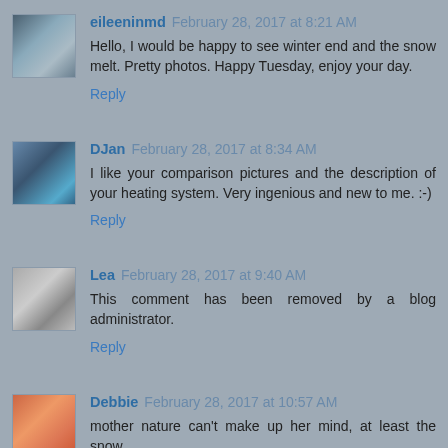eileeninmd February 28, 2017 at 8:21 AM
Hello, I would be happy to see winter end and the snow melt. Pretty photos. Happy Tuesday, enjoy your day.
Reply
DJan February 28, 2017 at 8:34 AM
I like your comparison pictures and the description of your heating system. Very ingenious and new to me. :-)
Reply
Lea February 28, 2017 at 9:40 AM
This comment has been removed by a blog administrator.
Reply
Debbie February 28, 2017 at 10:57 AM
mother nature can't make up her mind, at least the snow...